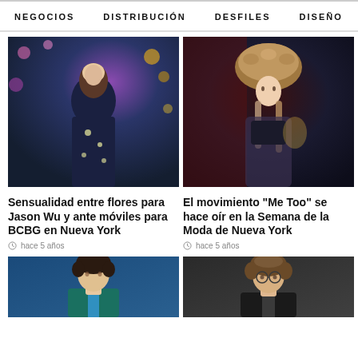NEGOCIOS  DISTRIBUCIÓN  DESFILES  DISEÑO  >
[Figure (photo): Fashion model in dark embellished coat on runway with flower background]
Sensualidad entre flores para Jason Wu y ante móviles para BCBG en Nueva York
hace 5 años
[Figure (photo): Model wearing fur hat and sheer outfit at fashion event]
El movimiento "Me Too" se hace oír en la Semana de la Moda de Nueva York
hace 5 años
[Figure (photo): Young male model in teal suit with blue tie]
[Figure (photo): Young man with curly hair and round glasses]